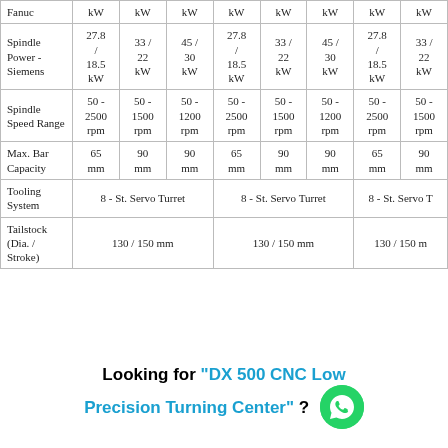|  | col1 | col2 | col3 | col4 | col5 | col6 | col7 | col8 |
| --- | --- | --- | --- | --- | --- | --- | --- | --- |
| Fanuc | kW | kW | kW | kW | kW | kW | kW | kW |
| Spindle Power - Siemens | 27.8 / 18.5 kW | 33 / 22 kW | 45 / 30 kW | 27.8 / 18.5 kW | 33 / 22 kW | 45 / 30 kW | 27.8 / 18.5 kW | 33 / 22 kW |
| Spindle Speed Range | 50 - 2500 rpm | 50 - 1500 rpm | 50 - 1200 rpm | 50 - 2500 rpm | 50 - 1500 rpm | 50 - 1200 rpm | 50 - 2500 rpm | 50 - 1500 rpm |
| Max. Bar Capacity | 65 mm | 90 mm | 90 mm | 65 mm | 90 mm | 90 mm | 65 mm | 90 mm |
| Tooling System | 8 - St. Servo Turret |  |  | 8 - St. Servo Turret |  |  | 8 - St. Servo T |  |
| Tailstock (Dia. / Stroke) | 130 / 150 mm |  |  | 130 / 150 mm |  |  | 130 / 150 m |  |
Looking for "DX 500 CNC Low Precision Turning Center" ?